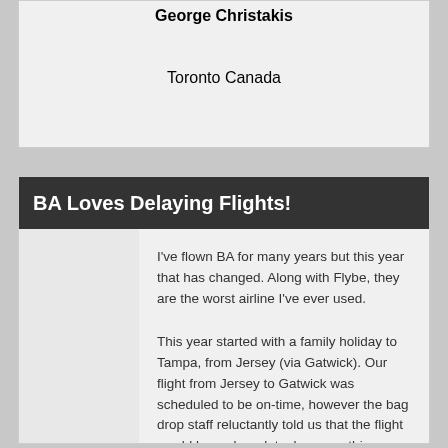George Christakis
Toronto Canada
BA Loves Delaying Flights!
I've flown BA for many years but this year that has changed. Along with Flybe, they are the worst airline I've ever used.
This year started with a family holiday to Tampa, from Jersey (via Gatwick). Our flight from Jersey to Gatwick was scheduled to be on-time, however the bag drop staff reluctantly told us that the flight would be an hour late, however this information was not put on the boards.